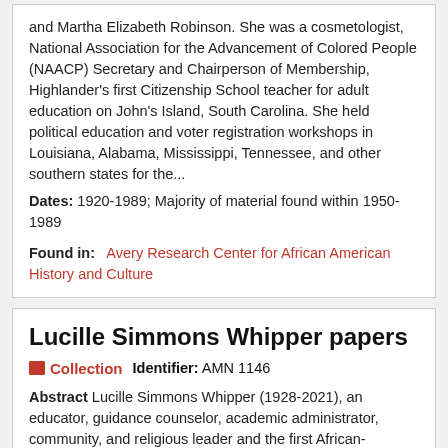and Martha Elizabeth Robinson. She was a cosmetologist, National Association for the Advancement of Colored People (NAACP) Secretary and Chairperson of Membership, Highlander's first Citizenship School teacher for adult education on John's Island, South Carolina. She held political education and voter registration workshops in Louisiana, Alabama, Mississippi, Tennessee, and other southern states for the...
Dates: 1920-1989; Majority of material found within 1950-1989
Found in: Avery Research Center for African American History and Culture
Lucille Simmons Whipper papers
Collection   Identifier: AMN 1146
Abstract Lucille Simmons Whipper (1928-2021), an educator, guidance counselor, academic administrator, community, and religious leader and the first African-American woman to serve as an State of South Carolina House of Representatives in